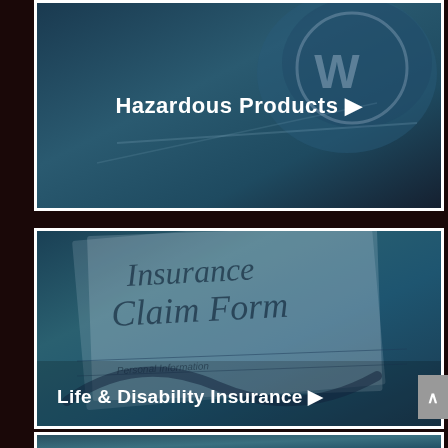[Figure (screenshot): Top card showing 'Hazardous Products' navigation item with teal/dark blue overlay on a technology-related background image]
Hazardous Products ▶
[Figure (screenshot): Middle card showing an Insurance Claim Form document with teal/dark blue overlay. The form shows 'Insurance Claim Form' text and fields for Personal Information.]
Life & Disability Insurance ▶
[Figure (photo): Bottom card partially visible, showing a person in teal/dark overlay, another navigation item]